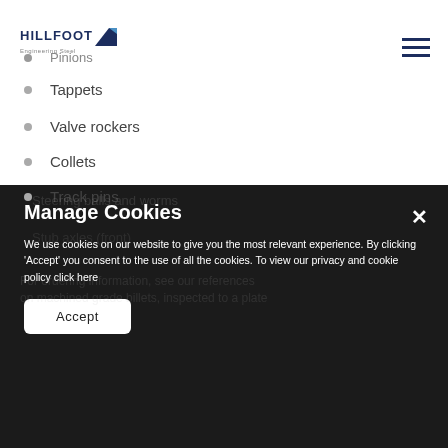[Figure (logo): Hillfoot Engineering Steel logo with navy blue text and arrow graphic]
Pinions
Tappets
Valve rockers
Collets
Track pins
Manage Cookies
We use cookies on our website to give you the most relevant experience. By clicking 'Accept' you consent to the use of all the cookies. To view our privacy and cookie policy click here
Accept